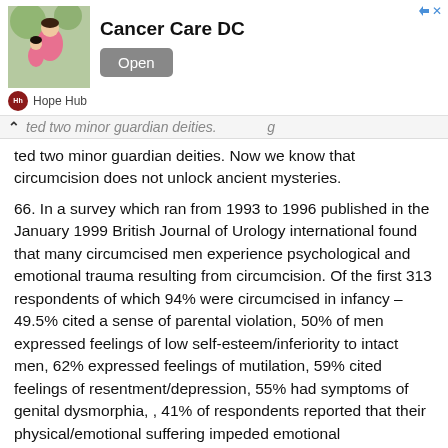[Figure (other): Advertisement banner for Cancer Care DC showing a woman and child in pink, with an Open button and Hope Hub source label]
ted two minor guardian deities. Now we know that circumcision does not unlock ancient mysteries.
66. In a survey which ran from 1993 to 1996 published in the January 1999 British Journal of Urology international found that many circumcised men experience psychological and emotional trauma resulting from circumcision. Of the first 313 respondents of which 94% were circumcised in infancy – 49.5% cited a sense of parental violation, 50% of men expressed feelings of low self-esteem/inferiority to intact men, 62% expressed feelings of mutilation, 59% cited feelings of resentment/depression, 55% had symptoms of genital dysmorphia, , 41% of respondents reported that their physical/emotional suffering impeded emotional